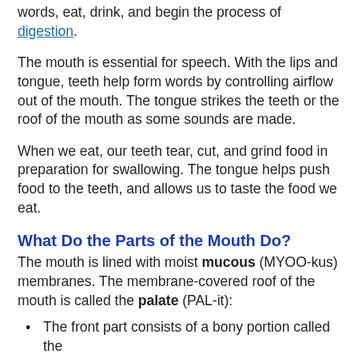words, eat, drink, and begin the process of digestion.
The mouth is essential for speech. With the lips and tongue, teeth help form words by controlling airflow out of the mouth. The tongue strikes the teeth or the roof of the mouth as some sounds are made.
When we eat, our teeth tear, cut, and grind food in preparation for swallowing. The tongue helps push food to the teeth, and allows us to taste the food we eat.
What Do the Parts of the Mouth Do?
The mouth is lined with moist mucous (MYOO-kus) membranes. The membrane-covered roof of the mouth is called the palate (PAL-it):
The front part consists of a bony portion called the